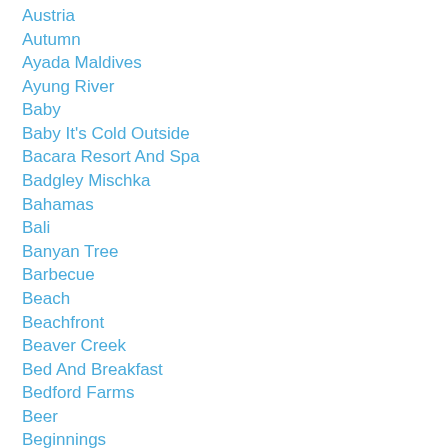Austria
Autumn
Ayada Maldives
Ayung River
Baby
Baby It's Cold Outside
Bacara Resort And Spa
Badgley Mischka
Bahamas
Bali
Banyan Tree
Barbecue
Beach
Beachfront
Beaver Creek
Bed And Breakfast
Bedford Farms
Beer
Beginnings
Belgravia London
Benjamin Moore